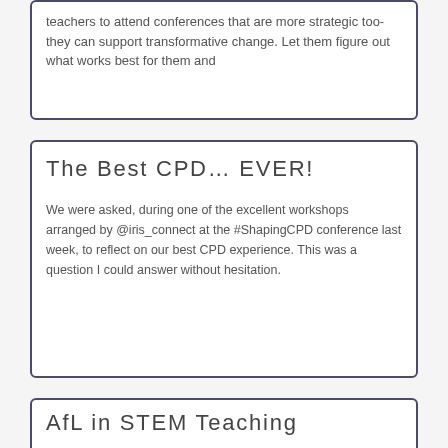classroom very few. We should be encouraging teachers to attend conferences that are more strategic too- they can support transformative change. Let them figure out what works best for them and
The Best CPD… EVER!
We were asked, during one of the excellent workshops arranged by @iris_connect at the #ShapingCPD conference last week, to reflect on our best CPD experience. This was a question I could answer without hesitation.
AfL in STEM Teaching